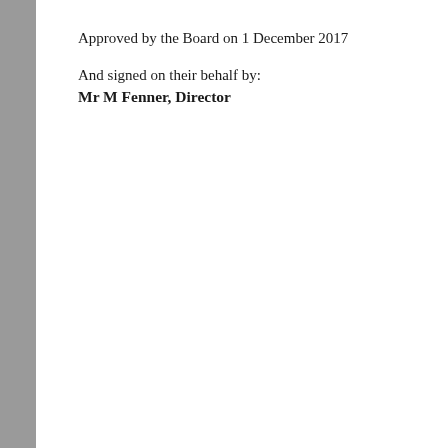Approved by the Board on 1 December 2017
And signed on their behalf by:
Mr M Fenner, Director